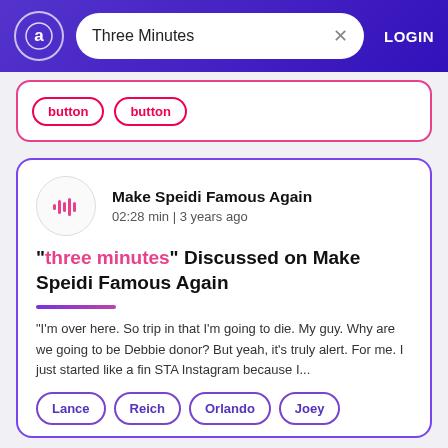Three Minutes | LOGIN
[Figure (screenshot): Partial card with two pill buttons visible at top]
Make Speidi Famous Again
02:28 min | 3 years ago
"three minutes" Discussed on Make Speidi Famous Again
"I'm over here. So trip in that I'm going to die. My guy. Why are we going to be Debbie donor? But yeah, it's truly alert. For me. I just started like a fin STA Instagram because I...
Lance
Reich
Orlando
Joey